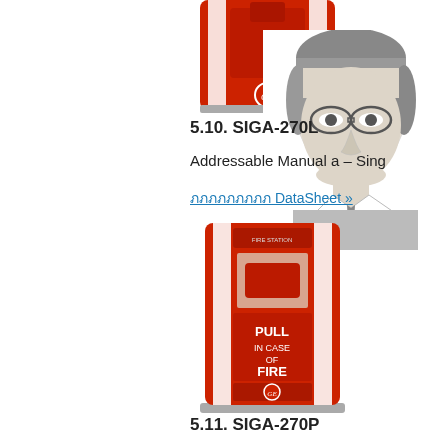[Figure (photo): Red addressable manual fire alarm pull station, top portion partially visible]
[Figure (illustration): Pencil sketch portrait of a man wearing glasses and a tie]
5.10. SIGA-270L
Addressable Manual a – Sing
ภภภภภภภภภ DataSheet »
[Figure (photo): Red fire alarm pull station with white text reading PULL IN CASE OF FIRE, GE logo at bottom]
5.11. SIGA-270P